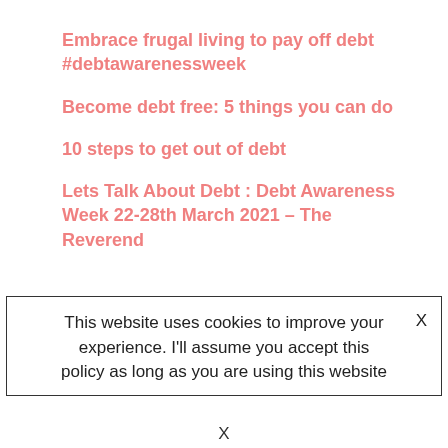Embrace frugal living to pay off debt #debtawarenessweek
Become debt free: 5 things you can do
10 steps to get out of debt
Lets Talk About Debt : Debt Awareness Week 22-28th March 2021 – The Reverend
This website uses cookies to improve your experience. I'll assume you accept this policy as long as you are using this website